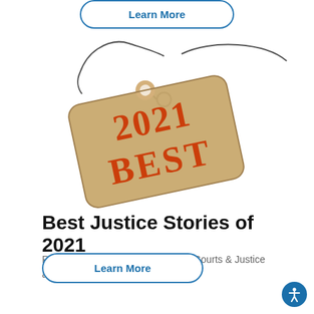[Figure (illustration): A button/link styled with blue rounded border reading 'Learn More' at the top of the page]
[Figure (photo): A brown kraft paper gift tag with a string, stamped in red with '2021 BEST' in bold serif letters]
Best Justice Stories of 2021
Read our top stories of 2021  from Courts & Justice and Public Safety.
[Figure (illustration): A button/link styled with blue rounded border reading 'Learn More' at the bottom of the page]